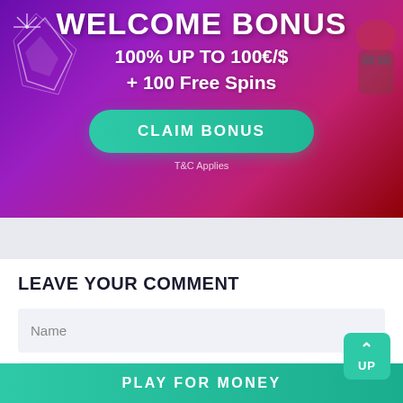[Figure (screenshot): Casino welcome bonus banner with purple/magenta gradient background, crystal decorations, and astronaut robot figure. Text reads WELCOME BONUS, 100% UP TO 100€/$ + 100 Free Spins, with a teal CLAIM BONUS button and T&C Applies note.]
LEAVE YOUR COMMENT
Name
E-mail
PLAY FOR MONEY